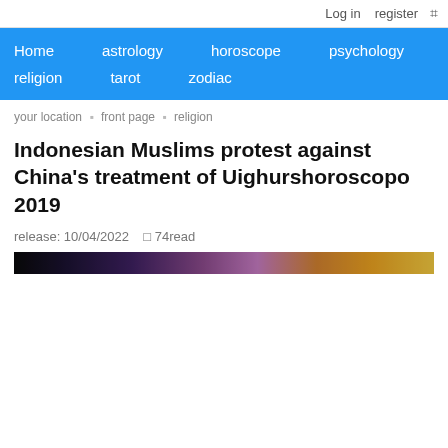Log in  register
Home  astrology  horoscope  psychology  religion  tarot  zodiac
your location > front page > religion
Indonesian Muslims protest against China's treatment of Uighurshoroscopo 2019
release: 10/04/2022  □ 74read
[Figure (photo): Hero image showing a cosmic/space scene with purple, pink and orange nebula colors against a dark background]